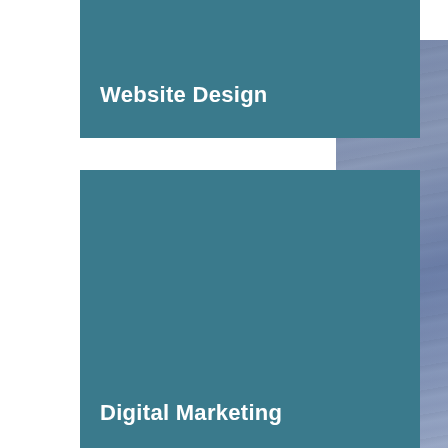[Figure (illustration): Teal colored card with white bold text 'Website Design' at the bottom left]
[Figure (photo): Partially visible right-side panel showing blurred fabric or cloth texture in blue-grey tones]
[Figure (illustration): Large teal colored card with white bold text 'Digital Marketing' at the bottom left]